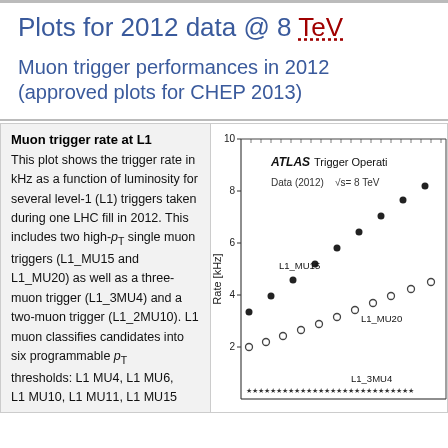Plots for 2012 data @ 8 TeV
Muon trigger performances in 2012 (approved plots for CHEP 2013)
Muon trigger rate at L1
This plot shows the trigger rate in kHz as a function of luminosity for several level-1 (L1) triggers taken during one LHC fill in 2012. This includes two high-p_T single muon triggers (L1_MU15 and L1_MU20) as well as a three-muon trigger (L1_3MU4) and a two-muon trigger (L1_2MU10). L1 muon classifies candidates into six programmable p_T thresholds: L1 MU4, L1 MU6, L1 MU10, L1 MU11, L1 MU15
[Figure (continuous-plot): Partial view of ATLAS muon trigger rate plot showing Rate [kHz] vs luminosity for triggers L1_MU15, L1_MU20, L1_3MU4 with data label 'Data (2012) sqrt(s)= 8 TeV'. Y-axis shows values from 2 to 10 kHz.]